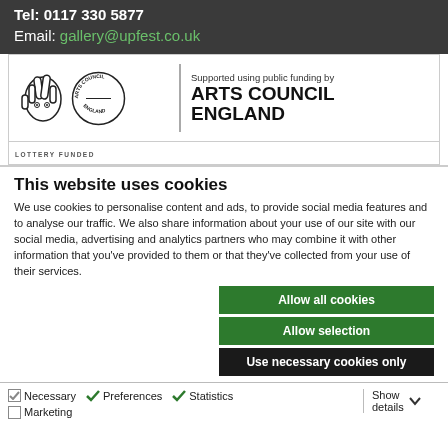Tel: 0117 330 5877
Email: gallery@upfest.co.uk
[Figure (logo): Arts Council England - Lottery Funded logo with crossed fingers icon and circular Arts Council England seal, with text 'Supported using public funding by ARTS COUNCIL ENGLAND' and 'LOTTERY FUNDED' at bottom]
This website uses cookies
We use cookies to personalise content and ads, to provide social media features and to analyse our traffic. We also share information about your use of our site with our social media, advertising and analytics partners who may combine it with other information that you've provided to them or that they've collected from your use of their services.
Allow all cookies
Allow selection
Use necessary cookies only
Necessary  Preferences  Statistics  Marketing  Show details